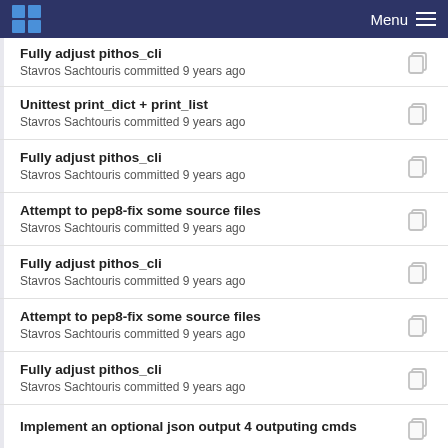Menu
Fully adjust pithos_cli
Stavros Sachtouris committed 9 years ago
Unittest print_dict + print_list
Stavros Sachtouris committed 9 years ago
Fully adjust pithos_cli
Stavros Sachtouris committed 9 years ago
Attempt to pep8-fix some source files
Stavros Sachtouris committed 9 years ago
Fully adjust pithos_cli
Stavros Sachtouris committed 9 years ago
Attempt to pep8-fix some source files
Stavros Sachtouris committed 9 years ago
Fully adjust pithos_cli
Stavros Sachtouris committed 9 years ago
Implement an optional json output 4 outputing cmds